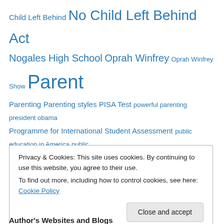Child Left Behind No Child Left Behind Act Nogales High School Oprah Winfrey Oprah Winfrey Show Parent Parenting Parenting styles PISA Test powerful parenting president obama Programme for International Student Assessment public education in America public education in the United States Race and ethnicity in the United States Census raising children Rowland Unified School District self-esteem self-esteem parenting Sexual abuse Standardized test State school Student Teacher teacher relationships with students teachers teacher training Teaching television the age of consent the
Privacy & Cookies: This site uses cookies. By continuing to use this website, you agree to their use.
To find out more, including how to control cookies, see here: Cookie Policy
Author's Websites and Blogs